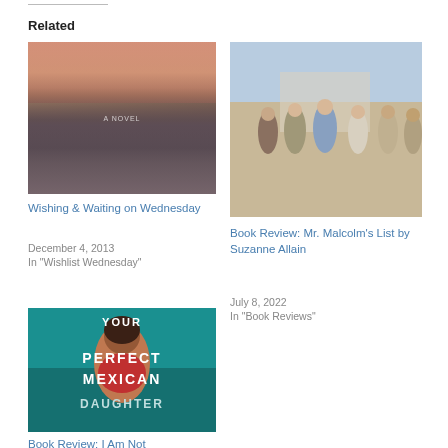Related
[Figure (photo): Book cover for 'Wishing & Waiting on Wednesday' showing a French chateau against a pink/purple sunset sky]
Wishing & Waiting on Wednesday
December 4, 2013
In "Wishlist Wednesday"
[Figure (photo): Book cover for 'Book Review: Mr. Malcolm's List by Suzanne Allain' showing Regency-era characters in period costume]
Book Review: Mr. Malcolm's List by Suzanne Allain
July 8, 2022
In "Book Reviews"
[Figure (photo): Book cover for 'Your Perfect Mexican Daughter' with bold text on colorful background]
Book Review: I Am Not